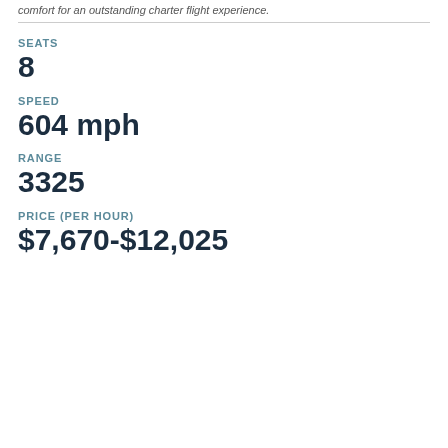comfort for an outstanding charter flight experience.
SEATS
8
SPEED
604 mph
RANGE
3325
PRICE (PER HOUR)
$7,670-$12,025